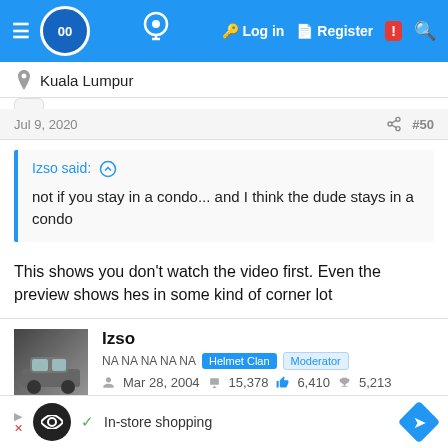Navigation bar with logo, Log in, Register links and search icon
Kuala Lumpur
Jul 9, 2020   #50
Izso said: ↑

not if you stay in a condo... and I think the dude stays in a condo
This shows you don't watch the video first. Even the preview shows hes in some kind of corner lot
Izso
NA NA NA NA NA   Helmet Clan   Moderator
Mar 28, 2004   15,378   6,410   5,213
In-store shopping